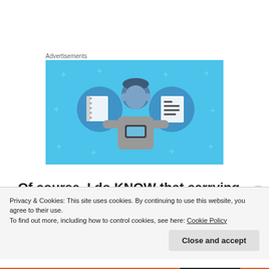Advertisements
[Figure (illustration): Advertisement banner with sky-blue background showing a cartoon person holding a phone flanked by two notebook/list icons in circular frames, with small cross/plus decorations scattered around]
Of course, I do KNOW that carrying (and soon, caring for) an infant has value, even if I'm not pulling in a
Privacy & Cookies: This site uses cookies. By continuing to use this website, you agree to their use.
To find out more, including how to control cookies, see here: Cookie Policy
Close and accept